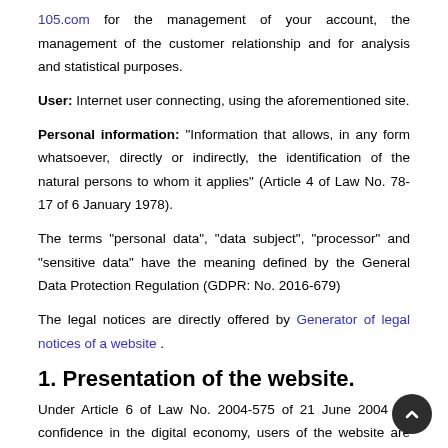105.com for the management of your account, the management of the customer relationship and for analysis and statistical purposes.
User: Internet user connecting, using the aforementioned site.
Personal information: "Information that allows, in any form whatsoever, directly or indirectly, the identification of the natural persons to whom it applies" (Article 4 of Law No. 78-17 of 6 January 1978).
The terms "personal data", "data subject", "processor" and "sensitive data" have the meaning defined by the General Data Protection Regulation (GDPR: No. 2016-679)
The legal notices are directly offered by Generator of legal notices of a website .
1. Presentation of the website.
Under Article 6 of Law No. 2004-575 of 21 June 2004 on confidence in the digital economy, users of the website are informed https://0-105.com the identity of the various parties involved in its implementation and